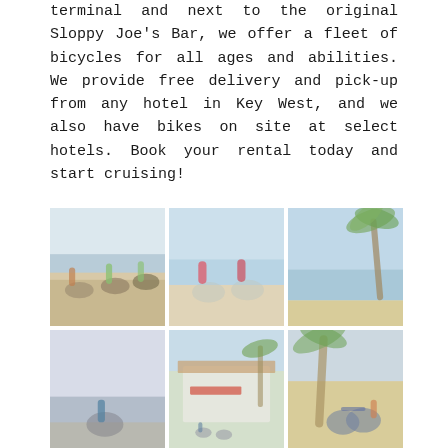terminal and next to the original Sloppy Joe's Bar, we offer a fleet of bicycles for all ages and abilities. We provide free delivery and pick-up from any hotel in Key West, and we also have bikes on site at select hotels. Book your rental today and start cruising!
[Figure (photo): A 3x2 grid of six faded/washed-out photos showing people biking on a beach (top-left), two women cycling on a sunny beach (top-center), palm trees by the ocean (top-right), a person biking on a rocky shore (bottom-left), a white building with palm trees and cyclists (bottom-center), and a bicycle near a palm tree on a sandy beach (bottom-right).]